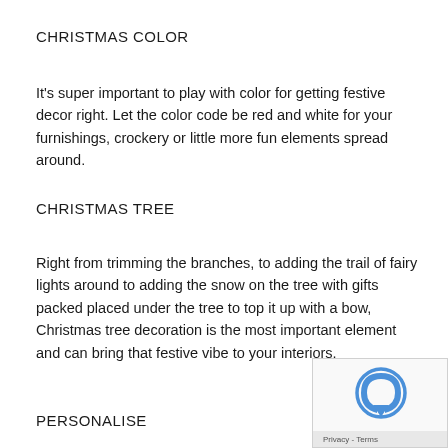CHRISTMAS COLOR
It’s super important to play with color for getting festive decor right. Let the color code be red and white for your furnishings, crockery or little more fun elements spread around.
CHRISTMAS TREE
Right from trimming the branches, to adding the trail of fairy lights around to adding the snow on the tree with gifts packed placed under the tree to top it up with a bow, Christmas tree decoration is the most important element and can bring that festive vibe to your interiors.
PERSONALISE
Everyone has different preferences and enjoys different things,